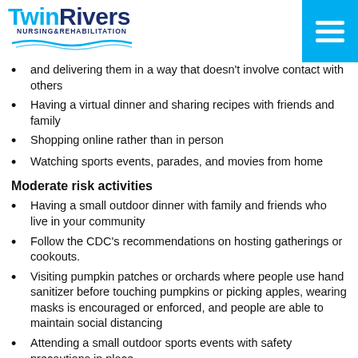Twin Rivers Nursing & Rehabilitation
and delivering them in a way that doesn't involve contact with others
Having a virtual dinner and sharing recipes with friends and family
Shopping online rather than in person
Watching sports events, parades, and movies from home
Moderate risk activities
Having a small outdoor dinner with family and friends who live in your community
Follow the CDC's recommendations on hosting gatherings or cookouts.
Visiting pumpkin patches or orchards where people use hand sanitizer before touching pumpkins or picking apples, wearing masks is encouraged or enforced, and people are able to maintain social distancing
Attending a small outdoor sports events with safety precautions in place